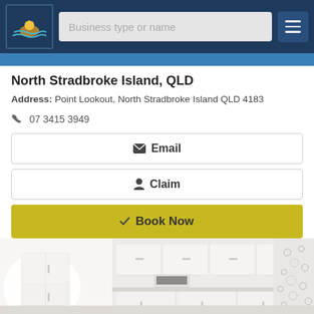Business type or name
North Stradbroke Island, QLD
Address: Point Lookout, North Stradbroke Island QLD 4183
07 3415 3949
Email
Claim
Book Now
View Details
[Figure (photo): Interior photo of a modern white kitchen with cabinets and appliances]